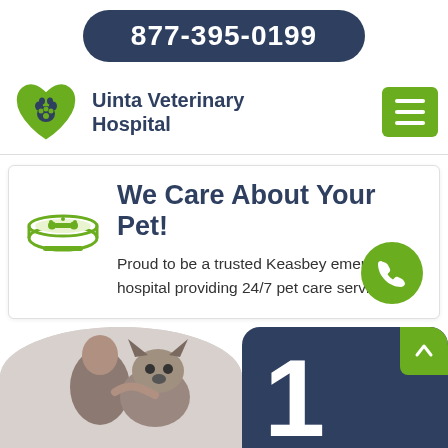877-395-0199
Uinta Veterinary Hospital
We Care About Your Pet!
Proud to be a trusted Keasbey emergency hospital providing 24/7 pet care services.
[Figure (photo): Photo of a person with a French Bulldog dog, bottom section of page]
1